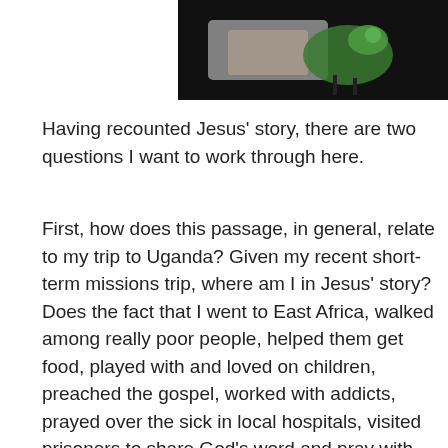[Figure (photo): A partial photo at the top of the page showing a person's hands and what appears to be a green parrot or bird, cropped at the top.]
Having recounted Jesus' story, there are two questions I want to work through here.
First, how does this passage, in general, relate to my trip to Uganda? Given my recent short-term missions trip, where am I in Jesus' story? Does the fact that I went to East Africa, walked among really poor people, helped them get food, played with and loved on children, preached the gospel, worked with addicts, prayed over the sick in local hospitals, visited prisoners to share God's word and pray with them, supported poor farmers in starting new businesses, etc … does all that mean that I have fulfilled Jesus' requirements in Matthew 25? Can I check the box and consider myself to be a high-quality